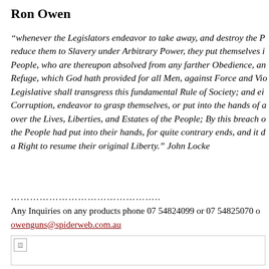Ron Owen
“whenever the Legislators endeavor to take away, and destroy the P… reduce them to Slavery under Arbitrary Power, they put themselves i… People, who are thereupon absolved from any farther Obedience, an… Refuge, which God hath provided for all Men, against Force and Vio… Legislative shall transgress this fundamental Rule of Society; and ei… Corruption, endeavor to grasp themselves, or put into the hands of a… over the Lives, Liberties, and Estates of the People; By this breach o… the People had put into their hands, for quite contrary ends, and it d… a Right to resume their original Liberty.” John Locke
……………………………………………………..
Any Inquiries on any products phone 07 54824099 or 07 54825070 o… owenguns@spiderweb.com.au
[Figure (photo): Image placeholder with broken image icon in top-left corner]